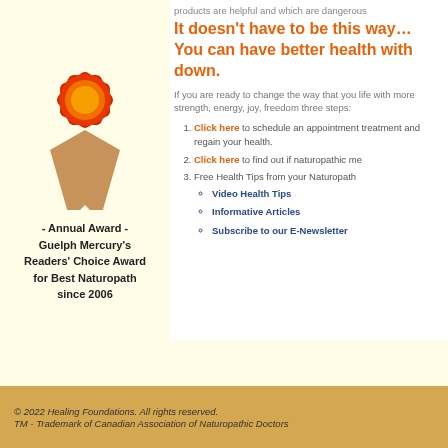[Figure (illustration): Award ribbon/rosette illustration in red and orange with triangular ribbon tails in tan/beige]
- Annual Award -
Guelph Mercury's
Readers' Choice Award
for Best Naturopath
since 2006
products are helpful and which are dangerous
It doesn't have to be this way…
You can have better health with down.
If you are ready to change the way that you life with more strength, energy, joy, freedom three steps:
Click here to schedule an appointment treatment and regain your health.
Click here to find out if naturopathic me
Free Health Tips from your Naturopath
Video Health Tips
Informative Articles
Subscribe to our E-Newsletter
© 2022 Healing Foundations. All rights reserved.
TM - Trademark of Canadian Association of Naturopathic Doctors